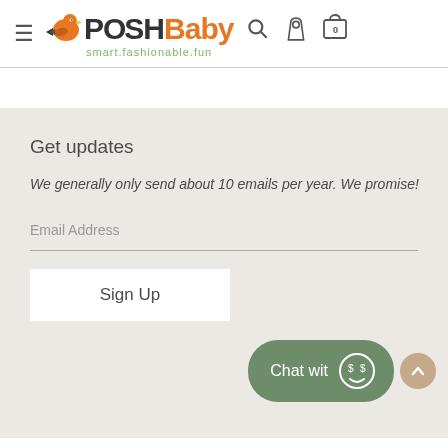[Figure (logo): PoshBaby logo with orange bird and text 'smart.fashionable.fun']
Get updates
We generally only send about 10 emails per year. We promise!
Email Address
Sign Up
[Figure (other): Chat widget button with text 'Chat wit' and smiley face icon, plus scroll-to-top button]